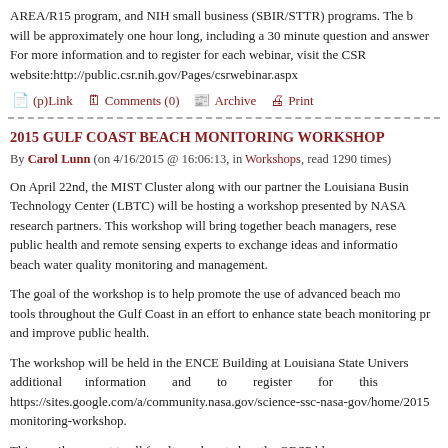AREA/R15 program, and NIH small business (SBIR/STTR) programs. The briefing will be approximately one hour long, including a 30 minute question and answer. For more information and to register for each webinar, visit the CSR website:http://public.csr.nih.gov/Pages/csrwebinar.aspx
(p)Link  Comments (0)  Archive  Print
2015 GULF COAST BEACH MONITORING WORKSHOP
By Carol Lunn (on 4/16/2015 @ 16:06:13, in Workshops, read 1290 times)
On April 22nd, the MIST Cluster along with our partner the Louisiana Business Technology Center (LBTC) will be hosting a workshop presented by NASA research partners. This workshop will bring together beach managers, researchers, public health and remote sensing experts to exchange ideas and information on beach water quality monitoring and management.
The goal of the workshop is to help promote the use of advanced beach monitoring tools throughout the Gulf Coast in an effort to enhance state beach monitoring programs and improve public health.
The workshop will be held in the ENCE Building at Louisiana State University. For additional information and to register for this workshop: https://sites.google.com/a/community.nasa.gov/science-ssc-nasa-gov/home/2015-gulf-coast-beach-monitoring-workshop.
This email was sent to all faculty and posted on the ORSP blog.